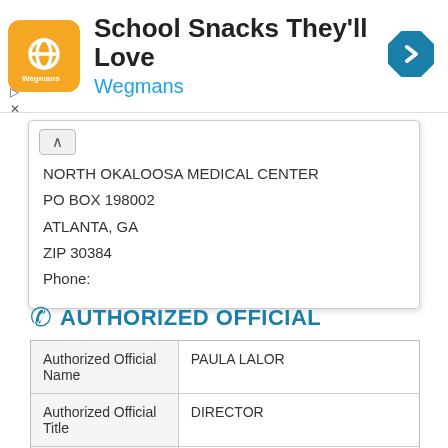[Figure (other): Wegmans advertisement banner with orange logo icon, text 'School Snacks They'll Love', 'Wegmans' in blue, and a blue navigation arrow icon]
NORTH OKALOOSA MEDICAL CENTER
PO BOX 198002
ATLANTA, GA
ZIP 30384
Phone:
AUTHORIZED OFFICIAL
|  |  |
| --- | --- |
| Authorized Official Name | PAULA LALOR |
| Authorized Official Title | DIRECTOR |
| Authorized Official | (629) 215-3953 |